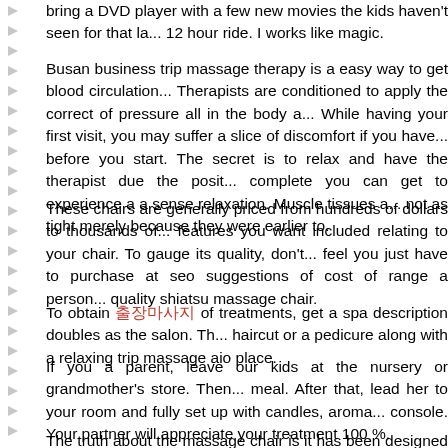bring a DVD player with a few new movies the kids haven't seen for that la... 12 hour ride. I works like magic.
Busan business trip massage therapy is a easy way to get blood circulation... Therapists are conditioned to apply the correct of pressure all in the body a... While having your first visit, you may suffer a slice of discomfort if you have... before you start. The secret is to relax and have the therapist due the posit... complete you can get to experience a a sense relaxation. Muscle tissues a... not as tight merely because they were earlier to.
These chairs are generally priced from hundreds of dollars to thousands of... features you want included relating to your chair. To gauge its quality, don't... feel you just have to purchase at seo suggestions of cost of range a person... quality shiatsu massage chair.
To obtain 출장마사지 of treatments, get a spa description doubles as the salon. Th... haircut or a pedicure along with a relaxing trip massage aio place.
If you a parent, leave our kids at the nursery or grandmother's store. Then... meal. After that, lead her to your room and fully set up with candles, aroma... console. Your partner will appreciate your treatment 100 %.
The truth about the massage chair is it has been designed to mimic the str... massage therapist performs on you. It has gears and motors that drive roll...